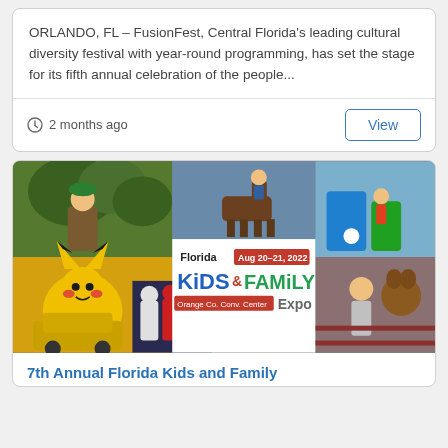ORLANDO, FL – FusionFest, Central Florida's leading cultural diversity festival with year-round programming, has set the stage for its fifth annual celebration of the people...
2 months ago
[Figure (photo): Collage of photos from Florida Kids and Family Expo featuring characters like Pikachu, costumed performers, children activities, and the event logo showing Aug 20-21, 2022 at Orange Co. Conv. Center]
7th Annual Florida Kids and Family